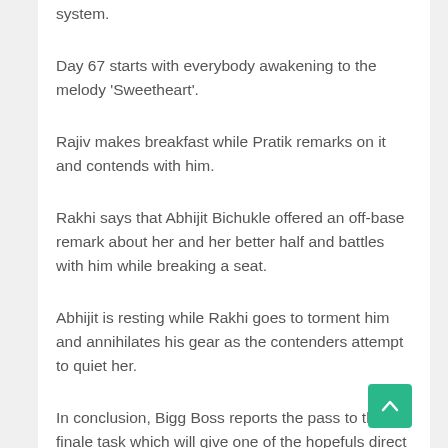system.
Day 67 starts with everybody awakening to the melody 'Sweetheart'.
Rajiv makes breakfast while Pratik remarks on it and contends with him.
Rakhi says that Abhijit Bichukle offered an off-base remark about her and her better half and battles with him while breaking a seat.
Abhijit is resting while Rakhi goes to torment him and annihilates his gear as the contenders attempt to quiet her.
In conclusion, Bigg Boss reports the pass to the finale task which will give one of the hopefuls direct